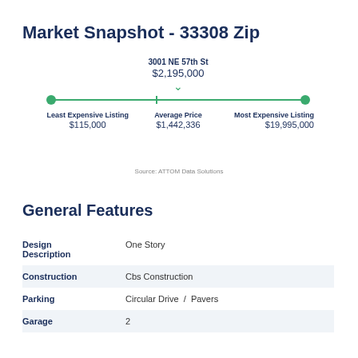Market Snapshot - 33308 Zip
[Figure (infographic): Price range line showing Least Expensive Listing $115,000, Average Price $1,442,336, Most Expensive Listing $19,995,000, with property at 3001 NE 57th St at $2,195,000 marked with a downward arrow on the line.]
Source: ATTOM Data Solutions
General Features
| Feature | Value |
| --- | --- |
| Design Description | One Story |
| Construction | Cbs Construction |
| Parking | Circular Drive  /  Pavers |
| Garage | 2 |